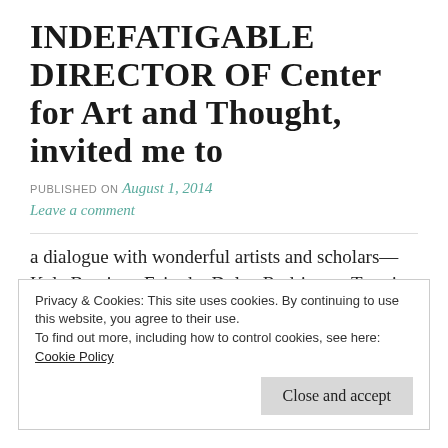INDEFATIGABLE DIRECTOR OF Center for Art and Thought, invited me to
PUBLISHED ON August 1, 2014
Leave a comment
a dialogue with wonderful artists and scholars—Kale Bantigue Fajardo, Dylan Rodriguez, Teresia Teaiwa, and Joi Barrios Leblanc on the subject of history, typhoons, unnatural disasters. I remember that we shared that
Privacy & Cookies: This site uses cookies. By continuing to use this website, you agree to their use.
To find out more, including how to control cookies, see here:
Cookie Policy
Close and accept
Wednesday, December 4, 2013, 5:40 PM EST